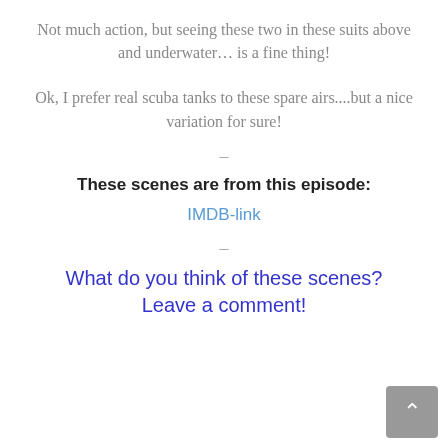Not much action, but seeing these two in these suits above and underwater… is a fine thing!
Ok, I prefer real scuba tanks to these spare airs....but a nice variation for sure!
–
These scenes are from this episode:
IMDB-link
–
What do you think of these scenes?
Leave a comment!